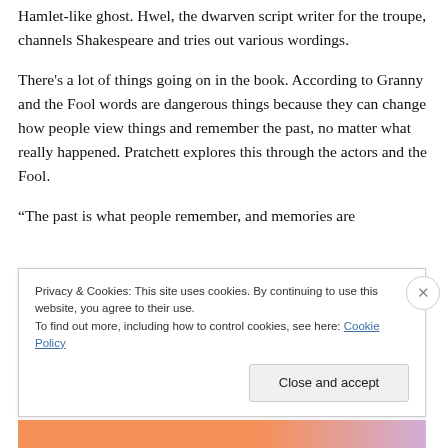Hamlet-like ghost. Hwel, the dwarven script writer for the troupe, channels Shakespeare and tries out various wordings.
There's a lot of things going on in the book. According to Granny and the Fool words are dangerous things because they can change how people view things and remember the past, no matter what really happened. Pratchett explores this through the actors and the Fool.
“The past is what people remember, and memories are
Privacy & Cookies: This site uses cookies. By continuing to use this website, you agree to their use.
To find out more, including how to control cookies, see here: Cookie Policy